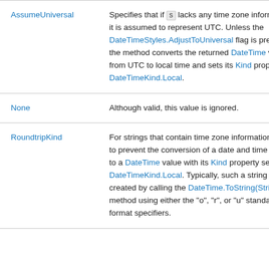| Field | Description |
| --- | --- |
| AssumeUniversal | Specifies that if s lacks any time zone information, it is assumed to represent UTC. Unless the DateTimeStyles.AdjustToUniversal flag is present, the method converts the returned DateTime value from UTC to local time and sets its Kind property to DateTimeKind.Local. |
| None | Although valid, this value is ignored. |
| RoundtripKind | For strings that contain time zone information, tries to prevent the conversion of a date and time string to a DateTime value with its Kind property set to DateTimeKind.Local. Typically, such a string is created by calling the DateTime.ToString(String) method using either the "o", "r", or "u" standard format specifiers. |